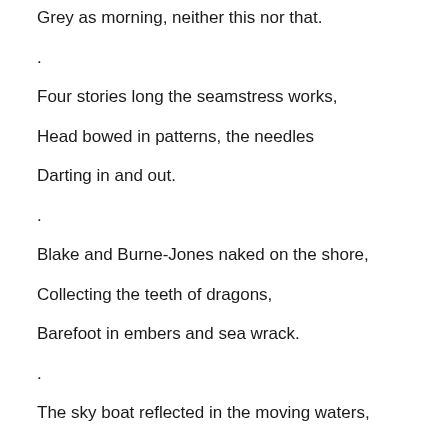Grey as morning, neither this nor that.
.
Four stories long the seamstress works,
Head bowed in patterns, the needles
Darting in and out.
.
Blake and Burne-Jones naked on the shore,
Collecting the teeth of dragons,
Barefoot in embers and sea wrack.
.
The sky boat reflected in the moving waters,